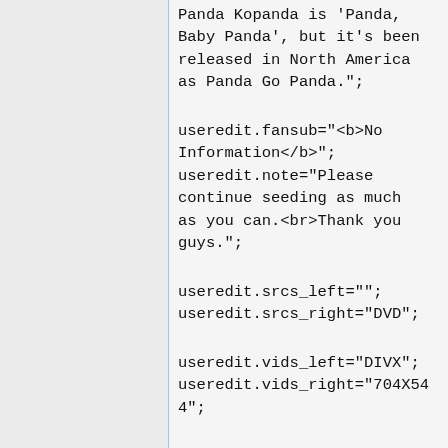Panda Kopanda is 'Panda, Baby Panda', but it's been released in North America as Panda Go Panda.";
useredit.fansub="<b>No Information</b>"; useredit.note="Please continue seeding as much as you can.<br>Thank you guys.";
useredit.srcs_left=""; useredit.srcs_right="DVD";
useredit.vids_left="DIVX"; useredit.vids_right="704X544";
useredit.auds_left="JP"; useredit.auds_right="MP3 24KHZ";